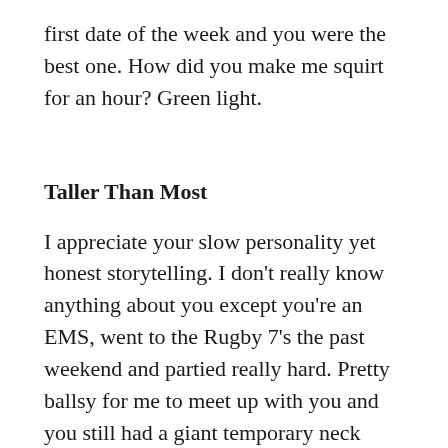first date of the week and you were the best one. How did you make me squirt for an hour? Green light.
Taller Than Most
I appreciate your slow personality yet honest storytelling. I don't really know anything about you except you're an EMS, went to the Rugby 7's the past weekend and partied really hard. Pretty ballsy for me to meet up with you and you still had a giant temporary neck tattoo from the sporting event, without baby oil or rubbing